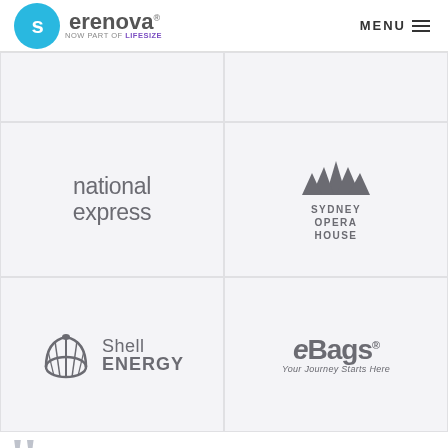Serenova — NOW PART OF lifesize | MENU
[Figure (logo): National Express logo — gray text, two-line lowercase]
[Figure (logo): Sydney Opera House logo with stylized sails icon and text]
[Figure (logo): Shell Energy logo with shell icon and text]
[Figure (logo): eBags logo with italic e, Bags text and tagline 'Your Journey Starts Here']
Customers tout Serenova's